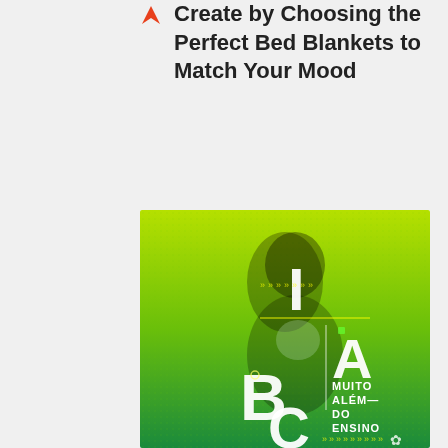Create by Choosing the Perfect Bed Blankets to Match Your Mood
[Figure (illustration): Green gradient poster featuring a smiling young woman with letters I, A, B, C and text 'MUITO ALÉM— DO ENSINO' overlaid on a lime-to-green gradient background with decorative arrow elements]